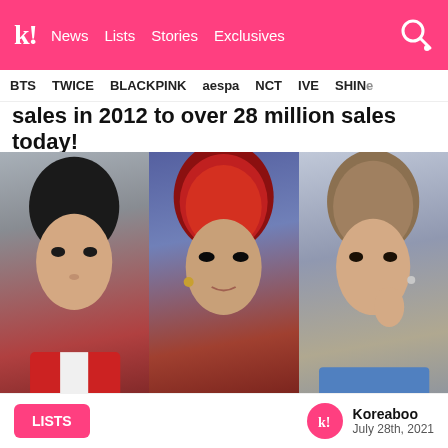k! News Lists Stories Exclusives
BTS TWICE BLACKPINK aespa NCT IVE SHIN...
sales in 2012 to over 28 million sales today!
[Figure (photo): Three-panel photo collage showing K-pop idols with year labels: 2012 (yellow), 2016 (orange), 2021 (red)]
LISTS
Koreaboo
July 28th, 2021